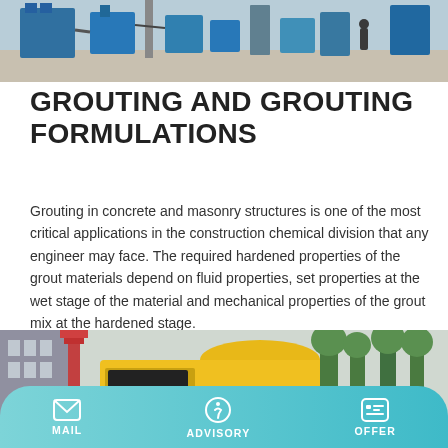[Figure (photo): Industrial construction plant with blue machinery and equipment on a concrete surface]
GROUTING AND GROUTING FORMULATIONS
Grouting in concrete and masonry structures is one of the most critical applications in the construction chemical division that any engineer may face. The required hardened properties of the grout materials depend on fluid properties, set properties at the wet stage of the material and mechanical properties of the grout mix at the hardened stage.
Learn More
[Figure (photo): Yellow construction vehicle or equipment with a red crane structure and trees in background]
MAIL    ADVISORY    OFFER